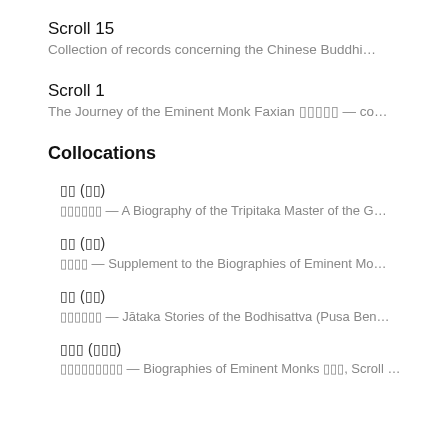Scroll 15
Collection of records concerning the Chinese Buddhi…
Scroll 1
The Journey of the Eminent Monk Faxian □□□□□ — co…
Collocations
□□ (□□)
□□□□□□ — A Biography of the Tripitaka Master of the G…
□□ (□□)
□□□□ — Supplement to the Biographies of Eminent Mo…
□□ (□□)
□□□□□□ — Jātaka Stories of the Bodhisattva (Pusa Ben…
□□□ (□□□)
□□□□□□□□□ — Biographies of Eminent Monks □□□, Scroll …